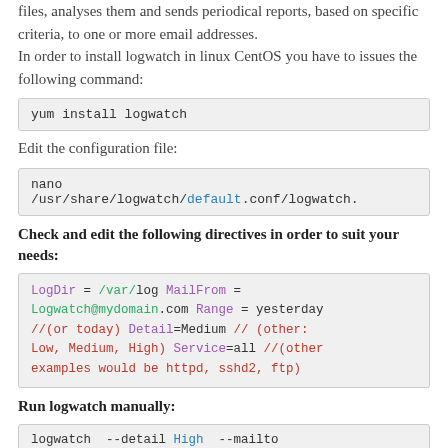files, analyses them and sends periodical reports, based on specific criteria, to one or more email addresses.
In order to install logwatch in linux CentOS you have to issues the following command:
yum install logwatch
Edit the configuration file:
nano /usr/share/logwatch/default.conf/logwatch.
Check and edit the following directives in order to suit your needs:
LogDir = /var/log MailFrom = Logwatch@mydomain.com Range = yesterday //(or today) Detail=Medium // (other: Low, Medium, High) Service=all //(other examples would be httpd, sshd2, ftp)
Run logwatch manually:
logwatch --detail High --mailto